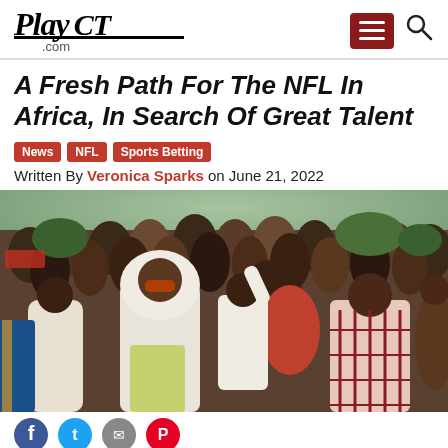PlayCT.com
A Fresh Path For The NFL In Africa, In Search Of Great Talent
News
NFL
Sports Betting
Written By Veronica Sparks on June 21, 2022
[Figure (photo): A crowd of African people celebrating outdoors, with a woman in white headscarf and sunglasses prominent in the center foreground.]